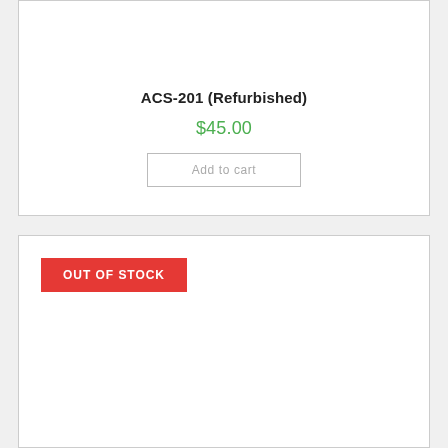ACS-201 (Refurbished)
$45.00
Add to cart
OUT OF STOCK